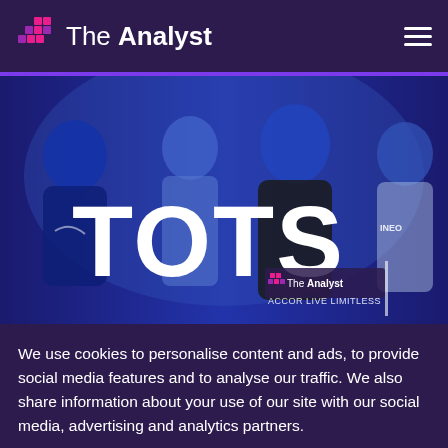The Analyst
[Figure (photo): Sports analytics website hero image showing four football players in a blue-tinted composite photo with large white 'TOTS' text overlay, The Analyst logo, and ACCOR LIVE LIMITLESS branding]
We use cookies to personalise content and ads, to provide social media features and to analyse our traffic. We also share information about your use of our site with our social media, advertising and analytics partners.